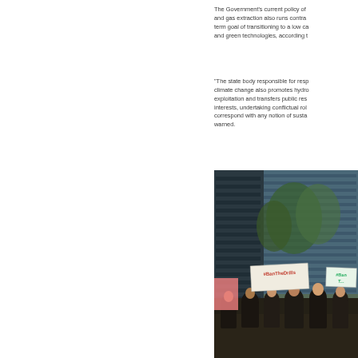The Government's current policy of [continuing oil] and gas extraction also runs contra[ry to its long-] term goal of transitioning to a low ca[rbon economy] and green technologies, according t[o the report.]
"The state body responsible for resp[onding to] climate change also promotes hydro[carbon] exploitation and transfers public res[ources to private] interests, undertaking conflictual rol[es that do not] correspond with any notion of susta[inability]," warned.
[Figure (photo): Protest photo showing demonstrators holding signs reading '#BanTheDrills' and '#Ban[TheDrills]' outside a building with glass facade and trees visible in background.]